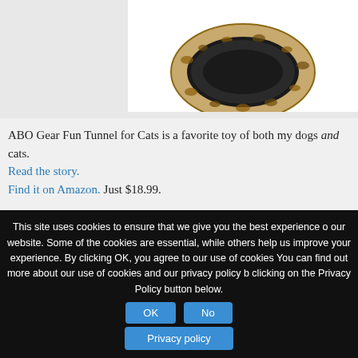[Figure (photo): Top portion of a cat tunnel toy product photo showing a leopard-print fabric tunnel]
ABO Gear Fun Tunnel for Cats is a favorite toy of both my dogs and cats. Read the story. Find it on Amazon. Just $18.99.
MEET THE CATS
[Figure (photo): Two cats side by side: a grey tabby cat labeled 'Dawn' on the left, and a dark grey cat labeled 'Athena' on the right]
This site uses cookies to ensure that we give you the best experience on our website. Some of the cookies are essential, while others help us improve your experience. By clicking OK, you agree to our use of cookies. You can find out more about our use of cookies and our privacy policy by clicking on the Privacy Policy button below.